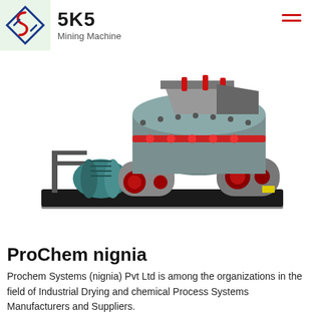SKS Mining Machine
[Figure (photo): Industrial mining machine / hammer crusher on a black metal base platform, with a teal/green electric motor on the left connected via belt drive, grey cylindrical crushing chamber in the center with red fittings and bolts, viewed from front-left angle on white background.]
ProChem nignia
Prochem Systems (nignia) Pvt Ltd is among the organizations in the field of Industrial Drying and chemical Process Systems Manufacturers and Suppliers.